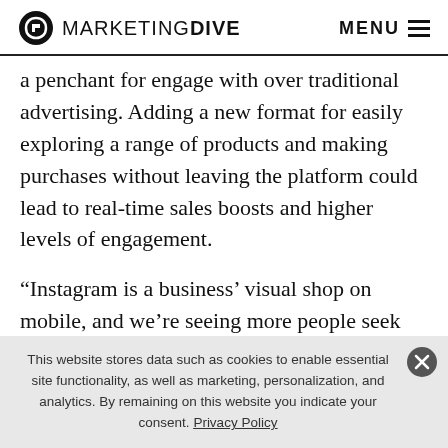MARKETING DIVE   MENU
a penchant for engage with over traditional advertising. Adding a new format for easily exploring a range of products and making purchases without leaving the platform could lead to real-time sales boosts and higher levels of engagement.
“Instagram is a business’ visual shop on mobile, and we’re seeing more people seek out businesses there,” Sheryl Sandberg, Facebook’s chief operating officer, said
This website stores data such as cookies to enable essential site functionality, as well as marketing, personalization, and analytics. By remaining on this website you indicate your consent. Privacy Policy